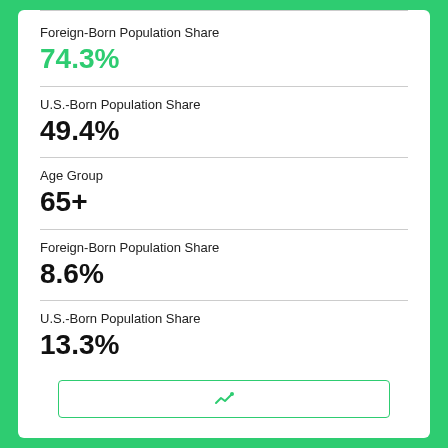Foreign-Born Population Share
74.3%
U.S.-Born Population Share
49.4%
Age Group
65+
Foreign-Born Population Share
8.6%
U.S.-Born Population Share
13.3%
[Figure (other): Green-bordered box at bottom of card with a small chart icon]